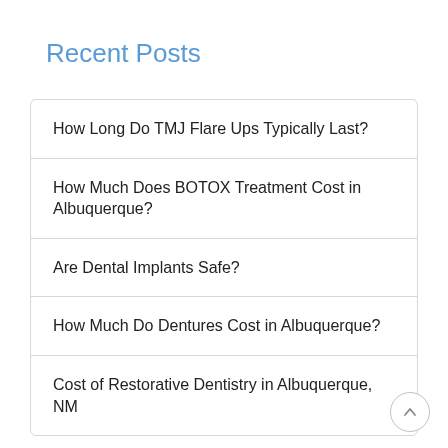Recent Posts
How Long Do TMJ Flare Ups Typically Last?
How Much Does BOTOX Treatment Cost in Albuquerque?
Are Dental Implants Safe?
How Much Do Dentures Cost in Albuquerque?
Cost of Restorative Dentistry in Albuquerque, NM